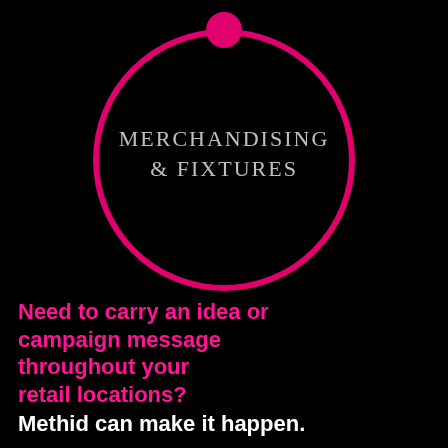[Figure (illustration): A large magenta/pink circle outline on black background with a small filled magenta circle at the top, and the text 'MERCHANDISING & FIXTURES' in grey serif font in the center]
Need to carry an idea or campaign message throughout your retail locations? Methid can make it happen.
We can take your top-level creative and format it to work within the